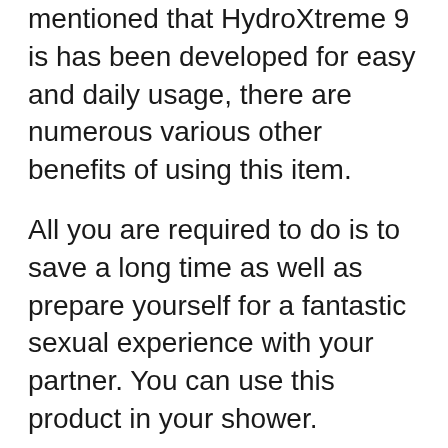mentioned that HydroXtreme 9 is has been developed for easy and daily usage, there are numerous various other benefits of using this item.
All you are required to do is to save a long time as well as prepare yourself for a fantastic sexual experience with your partner. You can use this product in your shower.
It takes just 15 minutes for this tool to aid you accomplish whatever that you have been long craving. Not just this, but the makers likewise assert that you could attain a penile length rise by 1-3 inches upon erection on the very first use this item.